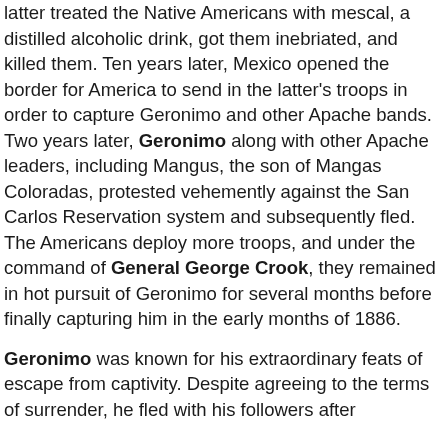latter treated the Native Americans with mescal, a distilled alcoholic drink, got them inebriated, and killed them. Ten years later, Mexico opened the border for America to send in the latter's troops in order to capture Geronimo and other Apache bands. Two years later, Geronimo along with other Apache leaders, including Mangus, the son of Mangas Coloradas, protested vehemently against the San Carlos Reservation system and subsequently fled. The Americans deploy more troops, and under the command of General George Crook, they remained in hot pursuit of Geronimo for several months before finally capturing him in the early months of 1886.
Geronimo was known for his extraordinary feats of escape from captivity. Despite agreeing to the terms of surrender, he fled with his followers after...